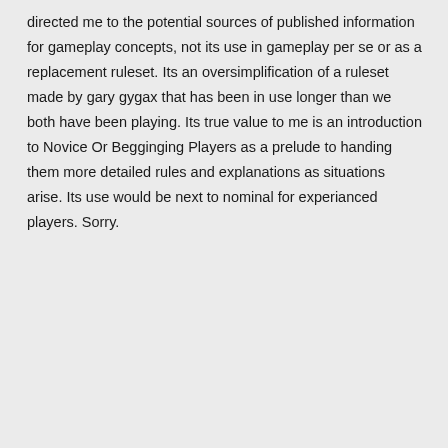directed me to the potential sources of published information for gameplay concepts, not its use in gameplay per se or as a replacement ruleset. Its an oversimplification of a ruleset made by gary gygax that has been in use longer than we both have been playing. Its true value to me is an introduction to Novice Or Begginging Players as a prelude to handing them more detailed rules and explanations as situations arise. Its use would be next to nominal for experianced players. Sorry.